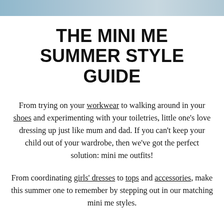[Figure (photo): Partial photo strip at the top of the page showing a beach/outdoor scene]
THE MINI ME SUMMER STYLE GUIDE
From trying on your workwear to walking around in your shoes and experimenting with your toiletries, little one's love dressing up just like mum and dad. If you can't keep your child out of your wardrobe, then we've got the perfect solution: mini me outfits!
From coordinating girls' dresses to tops and accessories, make this summer one to remember by stepping out in our matching mini me styles.